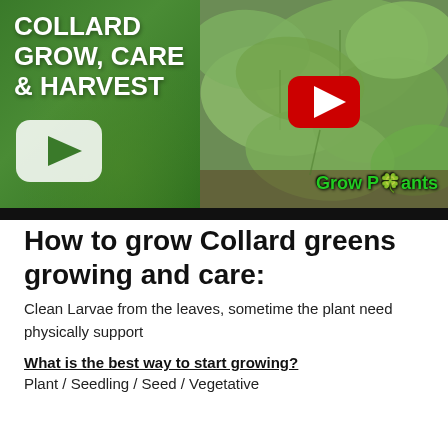[Figure (screenshot): YouTube video thumbnail for 'Collard Grow, Care & Harvest' video by Grow Plants channel, showing green panel with text and YouTube play button, alongside a photo of collard green leaves]
How to grow Collard greens growing and care:
Clean Larvae from the leaves, sometime the plant need physically support
What is the best way to start growing?
Plant / Seedling / Seed / Vegetative